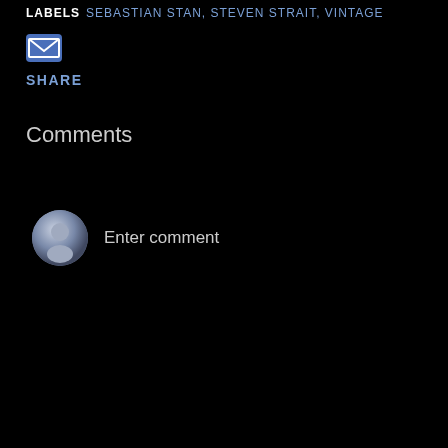LABELS SEBASTIAN STAN, STEVEN STRAIT, VINTAGE
[Figure (illustration): Email envelope icon, blue square background with white envelope outline]
SHARE
Comments
[Figure (illustration): Generic user avatar circle icon (gray gradient with silhouette) next to 'Enter comment' placeholder text]